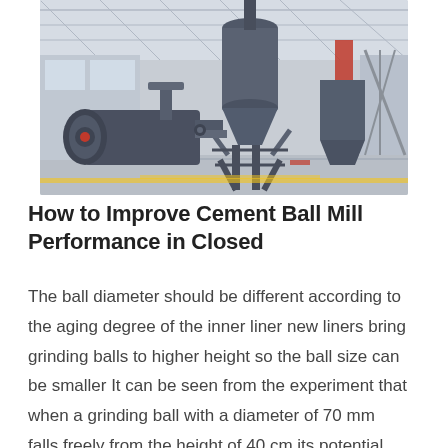[Figure (photo): Industrial cement ball mill equipment inside a large factory warehouse. Shows large cylindrical mill machinery with blue-grey metallic structures, fans, pipes, and supporting steel framework on a concrete floor. Red structural beams visible in the background.]
How to Improve Cement Ball Mill Performance in Closed
The ball diameter should be different according to the aging degree of the inner liner new liners bring grinding balls to higher height so the ball size can be smaller It can be seen from the experiment that when a grinding ball with a diameter of 70 mm falls freely from the height of 40 cm its potential energy can completely crush a